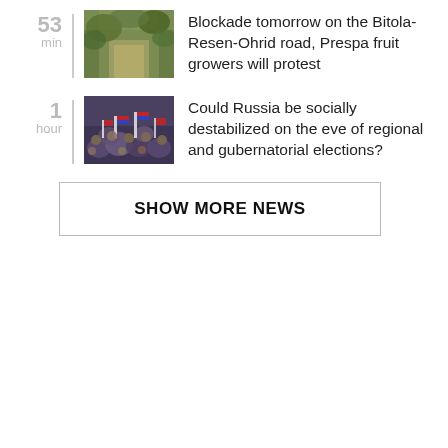53 min — Blockade tomorrow on the Bitola-Resen-Ohrid road, Prespa fruit growers will protest
1 hour — Could Russia be socially destabilized on the eve of regional and gubernatorial elections?
SHOW MORE NEWS